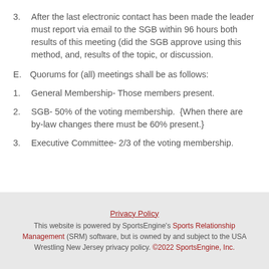3.    After the last electronic contact has been made the leader must report via email to the SGB within 96 hours both results of this meeting (did the SGB approve using this method, and, results of the topic, or discussion.
E.    Quorums for (all) meetings shall be as follows:
1.    General Membership- Those members present.
2.    SGB- 50% of the voting membership.  {When there are by-law changes there must be 60% present.}
3.    Executive Committee- 2/3 of the voting membership.
Privacy Policy
This website is powered by SportsEngine's Sports Relationship Management (SRM) software, but is owned by and subject to the USA Wrestling New Jersey privacy policy. ©2022 SportsEngine, Inc.